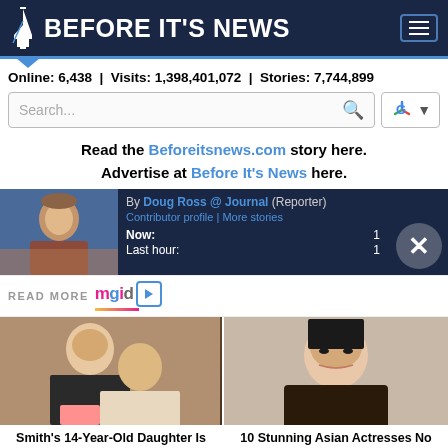BEFORE IT'S NEWS
Online: 6,438 | Visits: 1,398,401,072 | Stories: 7,744,899
Read the Beforeitsnews.com story here. Advertise at Before It's News here.
By Doug Ross @ Journal (Reporter)
Contributor profile | More stories
Now: 1
Last hour: 1
READ MORE mgid
[Figure (photo): Two people embracing, caption: Smith's 14-Year-Old Daughter Is The Spitting Image Of The Mother]
Smith's 14-Year-Old Daughter Is The Spitting Image Of The Mother
[Figure (photo): Portrait of young Asian woman, caption: 10 Stunning Asian Actresses No Man Can Resist]
10 Stunning Asian Actresses No Man Can Resist